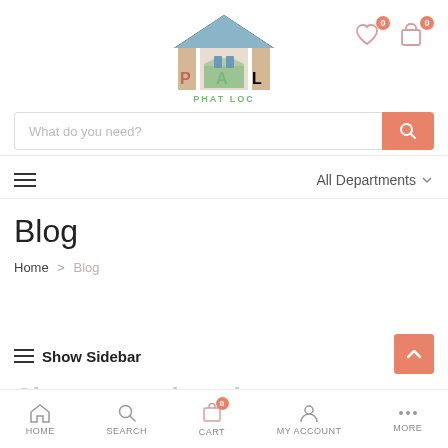[Figure (logo): Phat Loc logo: a house illustration with blue roof, beige/gold columns, green arch, letters P A L, text PHAT LOC below]
[Figure (illustration): Heart icon with badge showing 0]
[Figure (illustration): Shopping bag/cart icon with badge showing 0]
What do you need?
≡  All Departments ∨
Blog
Home > Blog
≡ Show Sidebar
Chua ten moi quoi
HOME  SEARCH  CART  MY ACCOUNT  MORE